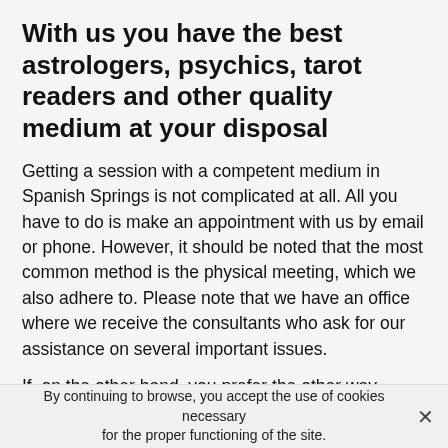With us you have the best astrologers, psychics, tarot readers and other quality medium at your disposal
Getting a session with a competent medium in Spanish Springs is not complicated at all. All you have to do is make an appointment with us by email or phone. However, it should be noted that the most common method is the physical meeting, which we also adhere to. Please note that we have an office where we receive the consultants who ask for our assistance on several important issues.
If, on the other hand, you prefer the other way around because you may not be able to do so, we can also come to your home. We also have the possibility to communicate with you by chat and you can even benefit from our
By continuing to browse, you accept the use of cookies necessary for the proper functioning of the site.